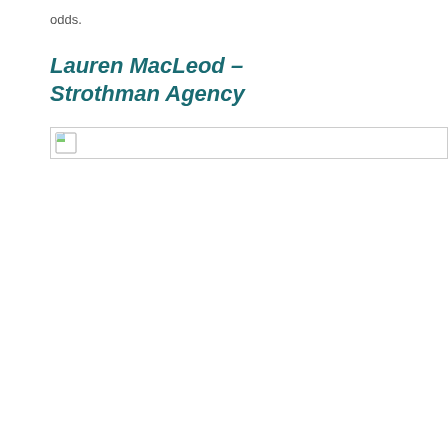odds.
Lauren MacLeod – Strothman Agency
[Figure (other): Broken image placeholder — a small broken image icon inside a rectangular bordered box]